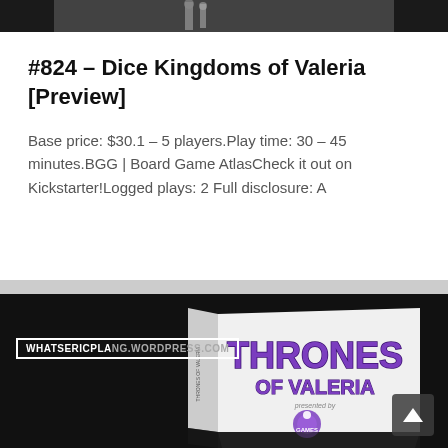[Figure (photo): Top strip showing partial image — dark background with faint figurine/game piece]
#824 – Dice Kingdoms of Valeria [Preview]
Base price: $30.1 – 5 players.Play time: 30 – 45 minutes.BGG | Board Game AtlasCheck it out on Kickstarter!Logged plays: 2 Full disclosure: A
[Figure (photo): Board game box art for 'Thrones of Valeria' on dark background, with WHATSERICPLAYING.WORDPRESS.COM watermark overlay and a scroll-to-top arrow button in bottom right corner]